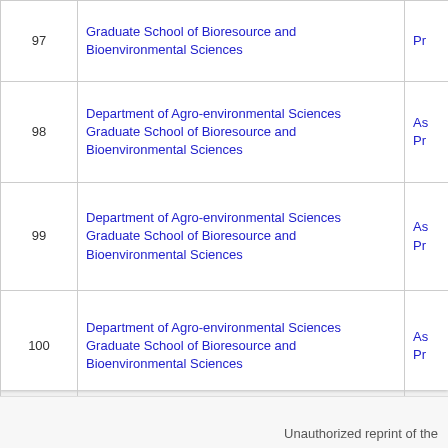| # | Department | Rank |
| --- | --- | --- |
| 97 | Graduate School of Bioresource and Bioenvironmental Sciences | Pr... |
| 98 | Department of Agro-environmental Sciences
Graduate School of Bioresource and Bioenvironmental Sciences | As...
Pr... |
| 99 | Department of Agro-environmental Sciences
Graduate School of Bioresource and Bioenvironmental Sciences | As...
Pr... |
| 100 | Department of Agro-environmental Sciences
Graduate School of Bioresource and Bioenvironmental Sciences | As...
Pr... |
First   Previous <<
Unauthorized reprint of the